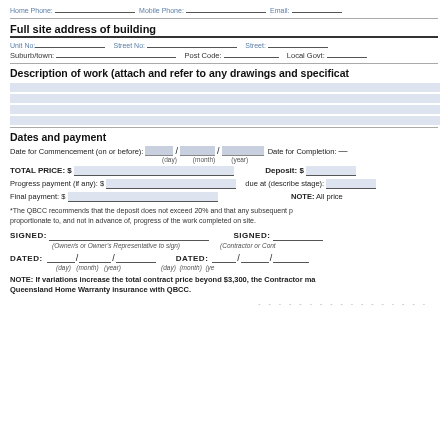Home Phone: _______________ Mobile Phone: _______________ Email: ___
Full site address of building
Unit No: _____________ Street No: _________________ Street: ___
Suburb/town: _____________________________ Post Code: _________ Local Govt: ___
Description of work (attach and refer to any drawings and specificat
Dates and payment
Date for Commencement (on or before): _____ / _______ / ________ Date for Completion: _
(day) (month) (year)
TOTAL PRICE: $ ___________________________________ Deposit: $ ___
Progress payment (if any): $ ___________________________ due at (describe stage): ___
Final payment: $ ___________________________________ NOTE: All price
*The QBCC recommends that the deposit does not exceed 20% and that any subsequent p proportionate to, and not in advance of, progress of the work completed on site.
SIGNED: _____________________________ SIGNED: ___
(Owner/s or Owner's Representative to sign) (Contractor or Cont
DATED: _____ / _____ / _______ DATED: _____ / _____ / ___
(day) (month) (year) (day) (month) (ye
NOTE: If variations increase the total contract price beyond $3,300, the Contractor ma Queensland Home Warranty insurance with QBCC.